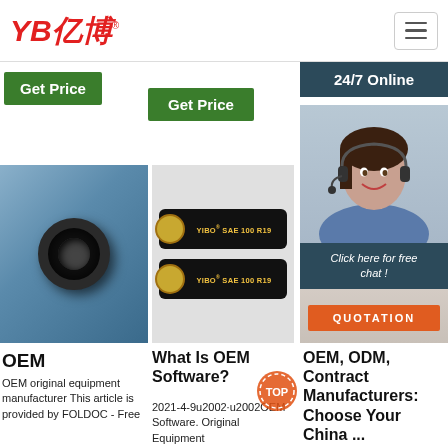[Figure (logo): YB亿博 logo in red with registered trademark symbol]
[Figure (other): Hamburger menu button (three horizontal lines)]
[Figure (other): Green Get Price button on left]
[Figure (other): Green Get Price button in center]
[Figure (other): Dark teal 24/7 Online banner on right]
[Figure (photo): Hand holding a black rubber hydraulic hose cross-section]
[Figure (photo): Two YIBO SAE 100 R19 hydraulic hoses]
[Figure (photo): Customer service representative with headset, Click here for free chat, QUOTATION button]
OEM
OEM original equipment manufacturer This article is provided by FOLDOC - Free
What Is OEM Software?
2021-4-9u2002·u2002OEM Software. Original Equipment
OEM, ODM, Contract Manufacturers: Choose Your China ...
[Figure (other): TOP badge/watermark overlay]